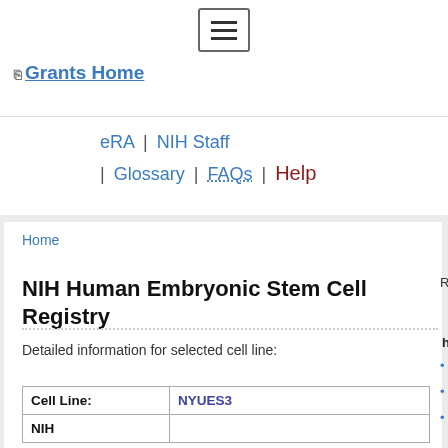[Figure (screenshot): Hamburger menu button icon with three horizontal lines]
Grants Home
eRA | NIH Staff | Glossary | FAQs | Help
Home
NIH Human Embryonic Stem Cell Registry
Related Resou...
hESC Lin...
Detailed information for selected cell line:
Lines Eli...
Lines Pe...
Lines in...
| Cell Line: | NYUES3 |
| --- | --- |
| NIH |  |